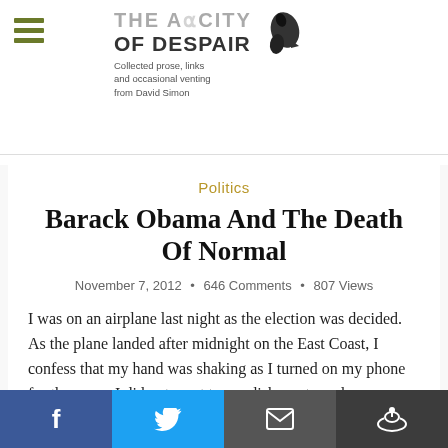THE AUDACITY OF DESPAIR — Collected prose, links and occasional venting from David Simon
Politics
Barack Obama And The Death Of Normal
November 7, 2012 • 646 Comments • 807 Views
I was on an airplane last night as the election was decided. As the plane landed after midnight on the East Coast, I confess that my hand was shaking as I turned on my phone for the news. I did not want to see dishonesty and divisiveness and raw political hackery rewarded. It is hard enough for anyone to actually address the problems, to
f  [Twitter]  [Email]  [Reddit]